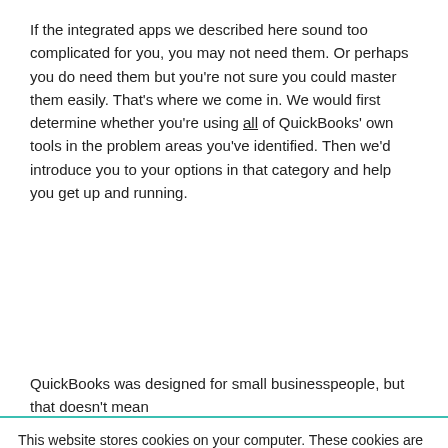If the integrated apps we described here sound too complicated for you, you may not need them. Or perhaps you do need them but you're not sure you could master them easily. That's where we come in. We would first determine whether you're using all of QuickBooks' own tools in the problem areas you've identified. Then we'd introduce you to your options in that category and help you get up and running.
QuickBooks was designed for small businesspeople, but that doesn't mean
This website stores cookies on your computer. These cookies are used to collect information about how you interact with our website and allow us to remember you. We use this information in order to improve and customize your browsing experience and for analytics and metrics about our visitors both on this website and other media. To find out more about the cookies we use, see our Privacy Policy.
If you decline, your information won't be tracked when you visit this website. A single cookie will be used in your browser to remember your preference not to be tracked.
Accept
Decline